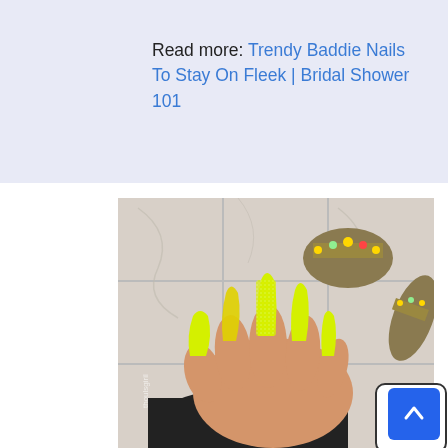Read more: Trendy Baddie Nails To Stay On Fleek | Bridal Shower 101
[Figure (photo): Close-up photo of a hand with long coffin-shaped nails painted in neon yellow/chartreuse, alternating between matte and glitter finishes. In the background, decorated high-heeled sandals with metallic and jeweled ankle straps. Marble tile background visible. Watermark reads 'thoulsgiril' in lower left.]